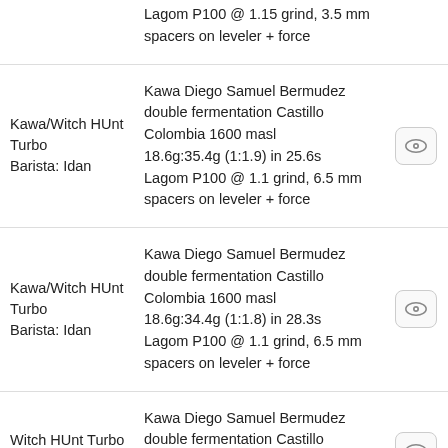Lagom P100 @ 1.15 grind, 3.5 mm spacers on leveler + force
Kawa/Witch HUnt Turbo
Barista: Idan | Kawa Diego Samuel Bermudez double fermentation Castillo Colombia 1600 masl
18.6g:35.4g (1:1.9) in 25.6s
Lagom P100 @ 1.1 grind, 6.5 mm spacers on leveler + force
Kawa/Witch HUnt Turbo
Barista: Idan | Kawa Diego Samuel Bermudez double fermentation Castillo Colombia 1600 masl
18.6g:34.4g (1:1.8) in 28.3s
Lagom P100 @ 1.1 grind, 6.5 mm spacers on leveler + force
Witch HUnt Turbo
Barista: Idan | Kawa Diego Samuel Bermudez double fermentation Castillo Colombia 1600 masl
18.7g:34.4g (1:1.8) in 21.3s